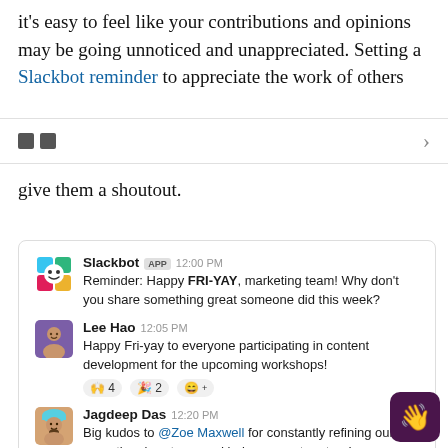it's easy to feel like your contributions and opinions may be going unnoticed and unappreciated. Setting a Slackbot reminder to appreciate the work of others
give them a shoutout.
[Figure (screenshot): Slack conversation screenshot showing Slackbot FRI-YAY reminder, Lee Hao response, and Jagdeep Das kudos message]